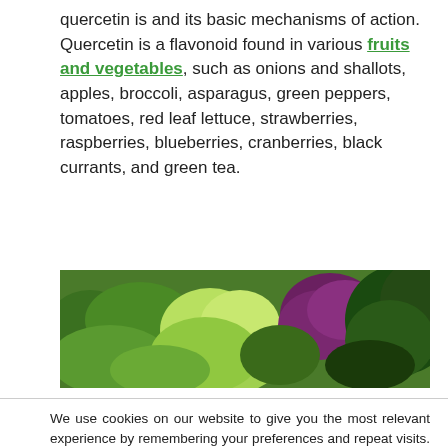quercetin is and its basic mechanisms of action. Quercetin is a flavonoid found in various fruits and vegetables, such as onions and shallots, apples, broccoli, asparagus, green peppers, tomatoes, red leaf lettuce, strawberries, raspberries, blueberries, cranberries, black currants, and green tea.
[Figure (photo): Close-up photo of various fresh vegetables and fruits including green leafy vegetables, purple cabbage, and other colorful produce.]
We use cookies on our website to give you the most relevant experience by remembering your preferences and repeat visits. By clicking “Accept”, you consent to the use of ALL the cookies.
Do not sell my personal information.
Cookie settings  ACCEPT